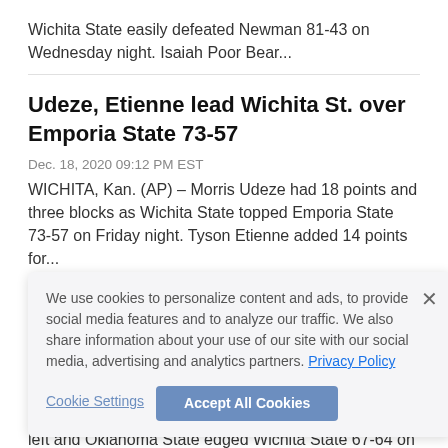Wichita State easily defeated Newman 81-43 on Wednesday night. Isaiah Poor Bear...
Udeze, Etienne lead Wichita St. over Emporia State 73-57
Dec. 18, 2020 09:12 PM EST
WICHITA, Kan. (AP) – Morris Udeze had 18 points and three blocks as Wichita State topped Emporia State 73-57 on Friday night. Tyson Etienne added 14 points for...
Cunningham hits winner, Oklahoma St edges Wichita St 67-64
Dec. 12, 2020 05:52 PM EST
WICHITA, Kan. (AP) – Freshman star Cade Cunningham hit a contested 3-pointer with 9.8 seconds left and Oklahoma State edged Wichita State 67-64 on Saturday. ...
We use cookies to personalize content and ads, to provide social media features and to analyze our traffic. We also share information about your use of our site with our social media, advertising and analytics partners. Privacy Policy